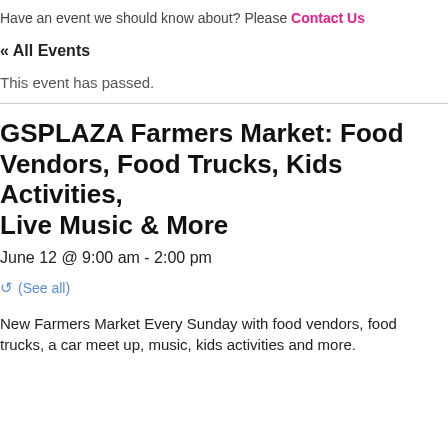Have an event we should know about? Please Contact Us
« All Events
This event has passed.
GSPLAZA Farmers Market: Food Vendors, Food Trucks, Kids Activities, Live Music & More
June 12 @ 9:00 am - 2:00 pm
(See all)
New Farmers Market Every Sunday with food vendors, food trucks, a car meet up, music, kids activities and more.